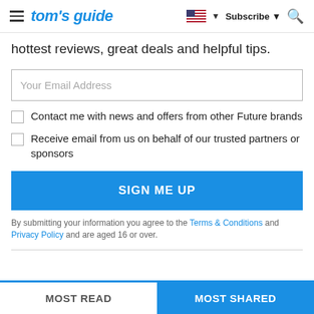tom's guide — Subscribe
hottest reviews, great deals and helpful tips.
Your Email Address
Contact me with news and offers from other Future brands
Receive email from us on behalf of our trusted partners or sponsors
SIGN ME UP
By submitting your information you agree to the Terms & Conditions and Privacy Policy and are aged 16 or over.
MOST READ
MOST SHARED